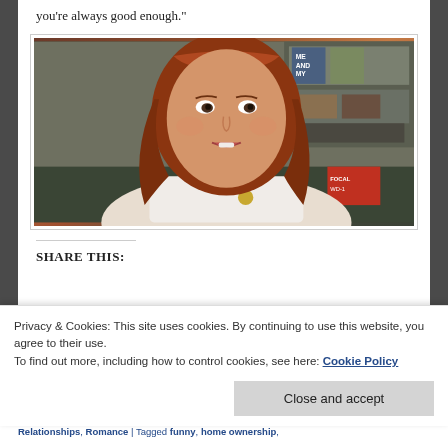you're always good enough."
[Figure (photo): Screenshot from a TV show or film showing a red-haired woman in a white top with a brooch, speaking or reacting, with shelves visible in the background.]
SHARE THIS:
Privacy & Cookies: This site uses cookies. By continuing to use this website, you agree to their use.
To find out more, including how to control cookies, see here: Cookie Policy
Close and accept
Relationships, Romance | Tagged funny, home ownership,